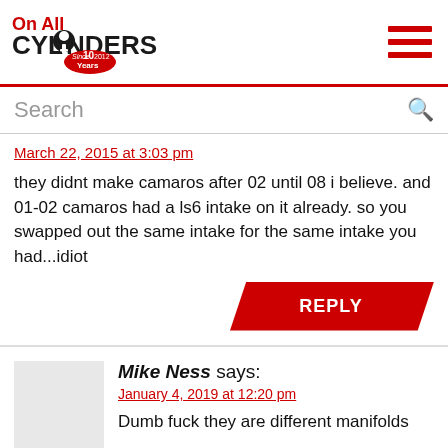[Figure (logo): On All Cylinders logo with '10 Years' badge]
Search
March 22, 2015 at 3:03 pm
they didnt make camaros after 02 until 08 i believe. and 01-02 camaros had a ls6 intake on it already. so you swapped out the same intake for the same intake you had...idiot
REPLY
Mike Ness says:
January 4, 2019 at 12:20 pm
Dumb fuck they are different manifolds